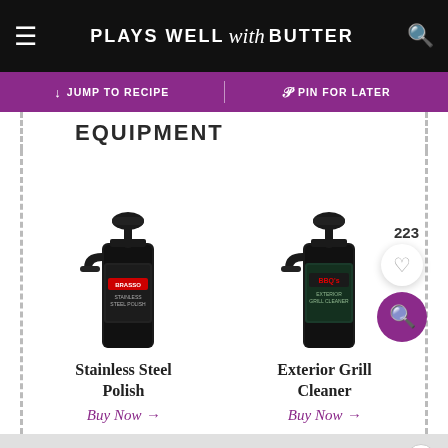PLAYS WELL with BUTTER
EQUIPMENT
[Figure (photo): Spray bottle of Stainless Steel Polish (black bottle with black trigger sprayer)]
Stainless Steel Polish
Buy Now →
[Figure (photo): Spray bottle of Exterior Grill Cleaner (black/dark bottle with black trigger sprayer, green/teal label)]
Exterior Grill Cleaner
Buy Now →